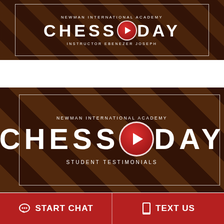[Figure (screenshot): Video thumbnail for Newman International Academy Chess Day - Instructor Ebenezer Joseph. Dark chess board background with white text overlay. Red circular play button in center. White border box around content.]
[Figure (screenshot): Video thumbnail for Newman International Academy Chess Day - Student Testimonials. Dark chess board background with chess pieces visible. Large white text overlay. Red circular play button in center. White border box around content.]
START CHAT
TEXT US